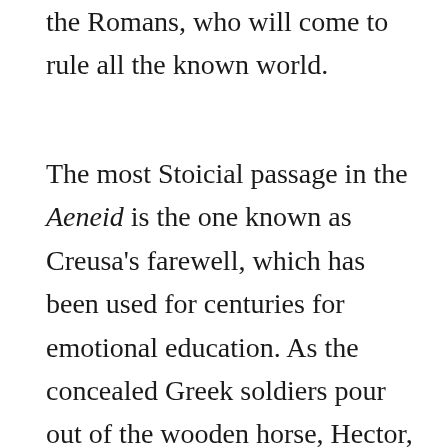the Romans, who will come to rule all the known world.
The most Stoicial passage in the Aeneid is the one known as Creusa's farewell, which has been used for centuries for emotional education. As the concealed Greek soldiers pour out of the wooden horse, Hector, the fallen Trojan hero, appears to Aeneas in a dream and urges him to flee their beloved Troy. When Aeneas awakens, the city is in flames with fighting and looting in every corner. Aeneas gathers a few men and fights as best he can but loses his companions and witnesses the slaughter of King Priam up on